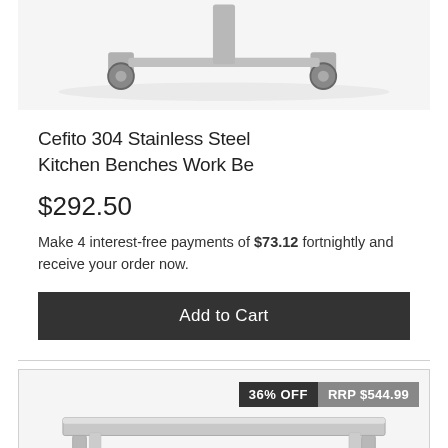[Figure (photo): Top portion of stainless steel kitchen bench on castor wheels, showing the wheel/caster details from above]
Cefito 304 Stainless Steel Kitchen Benches Work Be
$292.50
Make 4 interest-free payments of $73.12 fortnightly and receive your order now.
Add to Cart
36% OFF  RRP $544.99
[Figure (photo): Stainless steel kitchen work bench/table with four legs, viewed from a slight angle showing the flat top surface and legs]